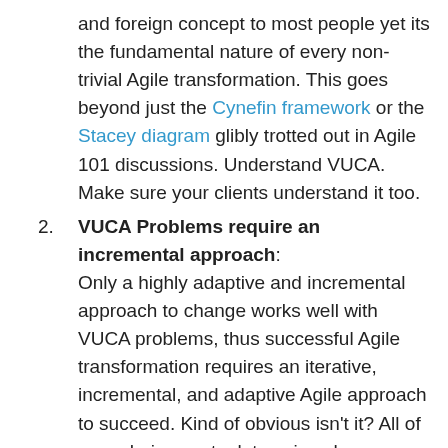and foreign concept to most people yet its the fundamental nature of every non-trivial Agile transformation. This goes beyond just the Cynefin framework or the Stacey diagram glibly trotted out in Agile 101 discussions. Understand VUCA. Make sure your clients understand it too.
2. VUCA Problems require an incremental approach: Only a highly adaptive and incremental approach to change works well with VUCA problems, thus successful Agile transformation requires an iterative, incremental, and adaptive Agile approach to succeed. Kind of obvious isn't it? All of your choices get a lot easier when you realize they're made in a VUCA context (i.e. many of them are going to be dead wrong). Your moves get a lot smaller. You're more humble. You pay attention to the results a lot more. As